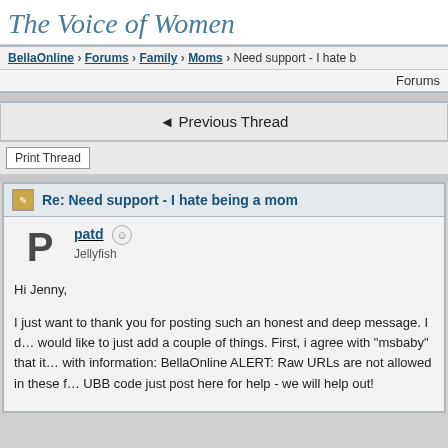The Voice of Women
BellaOnline > Forums > Family > Moms > Need support - I hate b…
Forums
◄ Previous Thread
Print Thread
Re: Need support - I hate being a mom
patd  Jellyfish
Hi Jenny,

I just want to thank you for posting such an honest and deep message. I d… would like to just add a couple of things. First, i agree with "msbaby" that it… with information: BellaOnline ALERT: Raw URLs are not allowed in these f… UBB code just post here for help - we will help out!